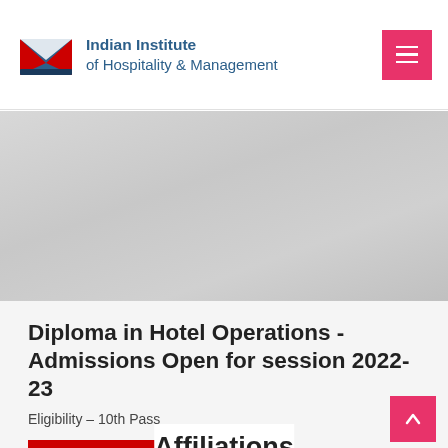Indian Institute of Hospitality & Management
[Figure (photo): Gray hero/banner image section]
Diploma in Hotel Operations - Admissions Open for session 2022-23
Eligibility – 10th Pass
ANNOUNCEMENT
Affiliations